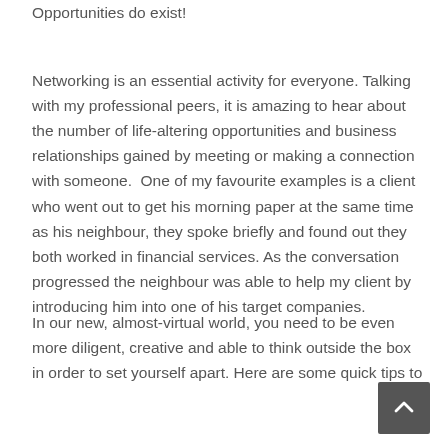Opportunities do exist!
Networking is an essential activity for everyone. Talking with my professional peers, it is amazing to hear about the number of life-altering opportunities and business relationships gained by meeting or making a connection with someone.  One of my favourite examples is a client who went out to get his morning paper at the same time as his neighbour, they spoke briefly and found out they both worked in financial services. As the conversation progressed the neighbour was able to help my client by introducing him into one of his target companies.
In our new, almost-virtual world, you need to be even more diligent, creative and able to think outside the box in order to set yourself apart. Here are some quick tips to